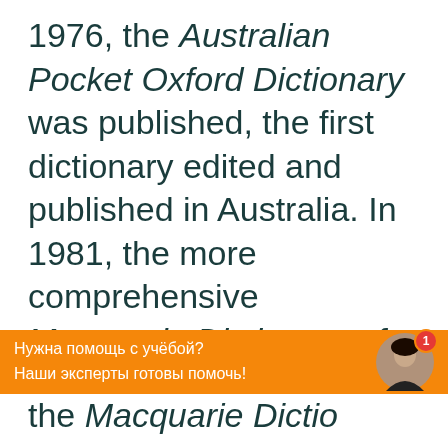1976, the Australian Pocket Oxford Dictionary was published, the first dictionary edited and published in Australia. In 1981, the more comprehensive Macquarie Dictionary of Australian English was published, after 10 years of research and planning. Updated editions
Нужна помощь с учёбой?
Наши эксперты готовы помочь!
the Macquarie Dictio...